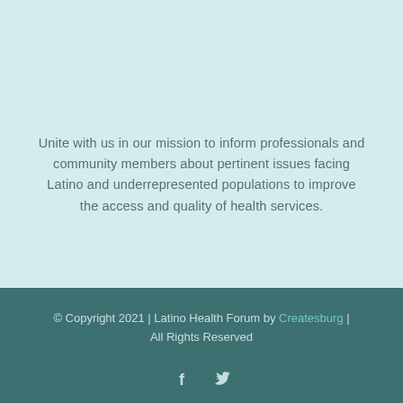Unite with us in our mission to inform professionals and community members about pertinent issues facing Latino and underrepresented populations to improve the access and quality of health services.
© Copyright 2021 | Latino Health Forum by Createsburg | All Rights Reserved